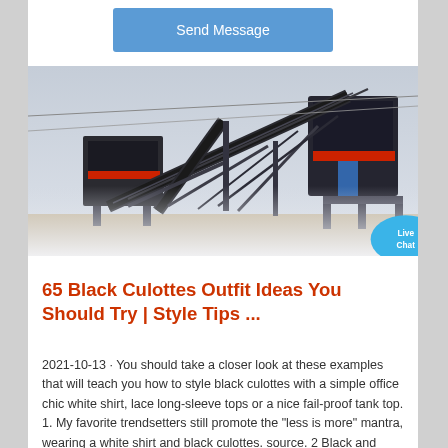[Figure (screenshot): Blue 'Send Message' button on white background]
[Figure (photo): Industrial mining/crushing machinery with conveyor belts and large equipment on a construction site, with a 'Live Chat' speech bubble overlay in the bottom right corner]
65 Black Culottes Outfit Ideas You Should Try | Style Tips ...
2021-10-13 · You should take a closer look at these examples that will teach you how to style black culottes with a simple office chic white shirt, lace long-sleeve tops or a nice fail-proof tank top. 1. My favorite trendsetters still promote the "less is more" mantra, wearing a white shirt and black culottes. source. 2 Black and Yellow Tank Top